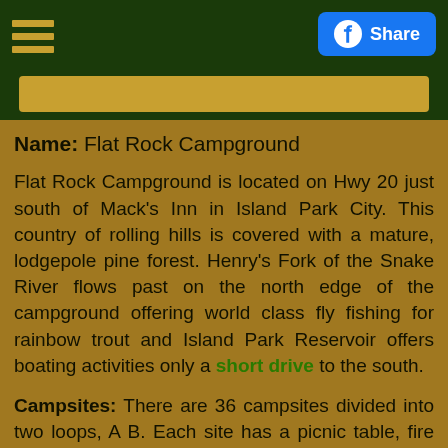Flat Rock Campground - menu and share button header
Name: Flat Rock Campground
Flat Rock Campground is located on Hwy 20 just south of Mack's Inn in Island Park City. This country of rolling hills is covered with a mature, lodgepole pine forest. Henry's Fork of the Snake River flows past on the north edge of the campground offering world class fly fishing for rainbow trout and Island Park Reservoir offers boating activities only a short drive to the south.
Campsites: There are 36 campsites divided into two loops, A B. Each site has a picnic table, fire pit with attached grate, a barbecue stand and a sand filled tent square. 9 sites in loop B have electricity. The roads and driveways are gravel. Loop A offers some sites with river access and some sites are on a slope.